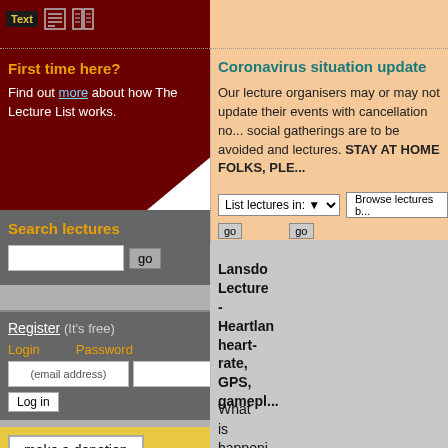First time here?
Find out more about how The Lecture List works.
Coronavirus situation update
Our lecture organisers may or may not update their events with cancellation notices. As social gatherings are to be avoided and lectures. STAY AT HOME FOLKS, PLE...
List lectures in: ▼  Browse lectures by...
Search lectures
Register (It's free)
Login    Password
(email address)
Log in
make a donation
Help us create and keep for the future a reference to every public talk in the UK...
Lansdo Lecture - Heartlan heart-rate, GPS, gamepl...
What is happenin...